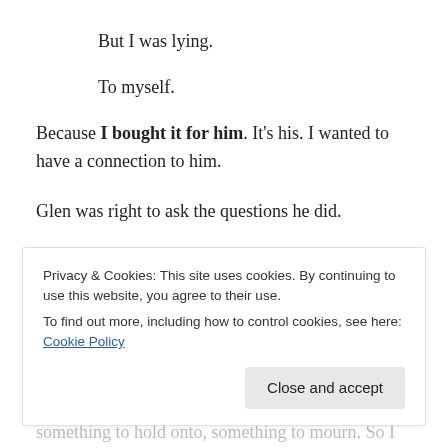But I was lying.
To myself.
Because I bought it for him. It's his. I wanted to have a connection to him.
Glen was right to ask the questions he did.
“Is is too late? Have you given your heart away already?”
So I was lying to her but no way to admit
something to hold onto, something to mourn. So I bought
Privacy & Cookies: This site uses cookies. By continuing to use this website, you agree to their use. To find out more, including how to control cookies, see here: Cookie Policy